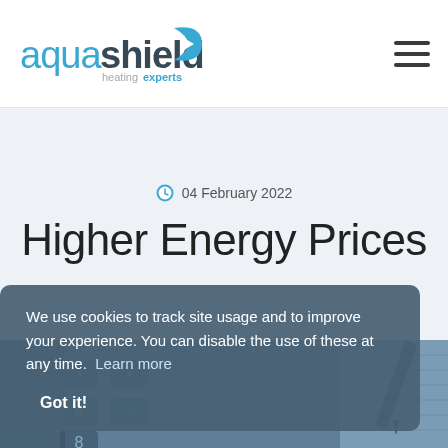aquashield heating experts
04 February 2022
Higher Energy Prices
[Figure (photo): Close-up photo of a calculator keypad with a pen resting on paper]
We use cookies to track site usage and to improve your experience. You can disable the use of these at any time.  Learn more

Got it!